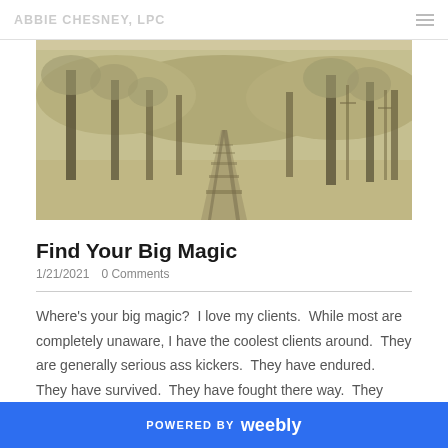ABBIE CHESNEY, LPC
[Figure (photo): Sepia-toned forest with a railway track receding into the distance between tall trees]
Find Your Big Magic
1/21/2021   0 Comments
Where's your big magic?  I love my clients.  While most are completely unaware, I have the coolest clients around.  They are generally serious ass kickers.  They have endured.  They have survived.  They have fought there way.  They have been
POWERED BY weebly